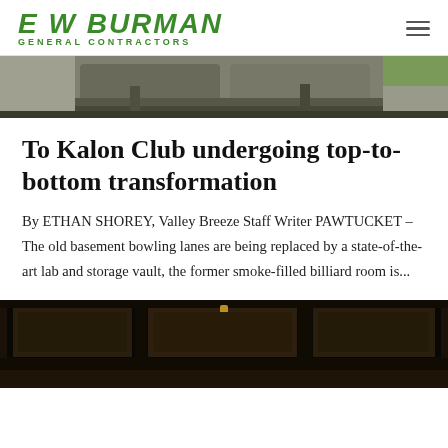E W BURMAN GENERAL CONTRACTORS
[Figure (photo): Outdoor photo showing concrete surfaces and pavement, top of page]
To Kalon Club undergoing top-to-bottom transformation
By ETHAN SHOREY, Valley Breeze Staff Writer PAWTUCKET – The old basement bowling lanes are being replaced by a state-of-the-art lab and storage vault, the former smoke-filled billiard room is...
[Figure (photo): Interior photo showing ornate coffered ceiling with a decorative light fixture]